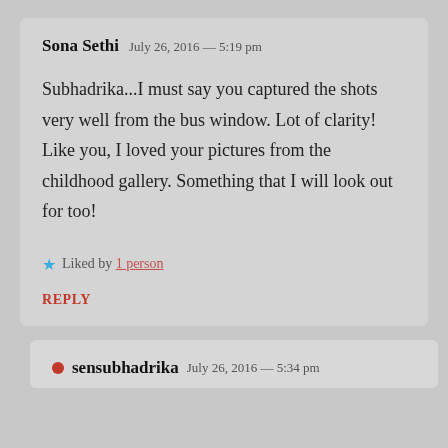Sona Sethi  July 26, 2016 — 5:19 pm
Subhadrika...I must say you captured the shots very well from the bus window. Lot of clarity! Like you, I loved your pictures from the childhood gallery. Something that I will look out for too!
★ Liked by 1 person
REPLY
● sensubhadrika  July 26, 2016 — 5:34 pm